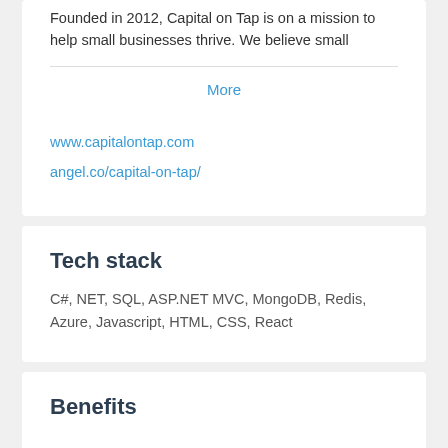Founded in 2012, Capital on Tap is on a mission to help small businesses thrive. We believe small
More
www.capitalontap.com
angel.co/capital-on-tap/
Tech stack
C#, NET, SQL, ASP.NET MVC, MongoDB, Redis, Azure, Javascript, HTML, CSS, React
Benefits